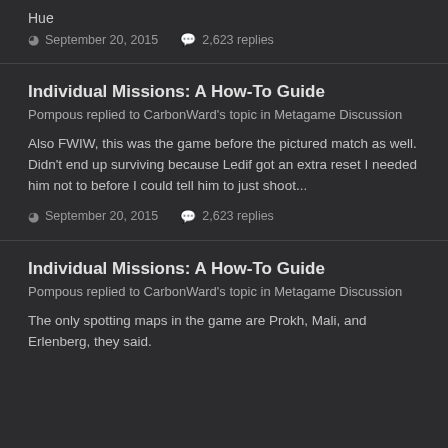Hue
September 20, 2015   2,623 replies
Individual Missions: A How-To Guide
Pompous replied to CarbonWard's topic in Metagame Discussion
Also FWIW, this was the game before the pictured match as well. Didn't end up surviving because Ledif got an extra reset I needed him not to before I could tell him to just shoot...
September 20, 2015   2,623 replies
Individual Missions: A How-To Guide
Pompous replied to CarbonWard's topic in Metagame Discussion
The only spotting maps in the game are Prokh, Mali, and Erlenberg, they said.